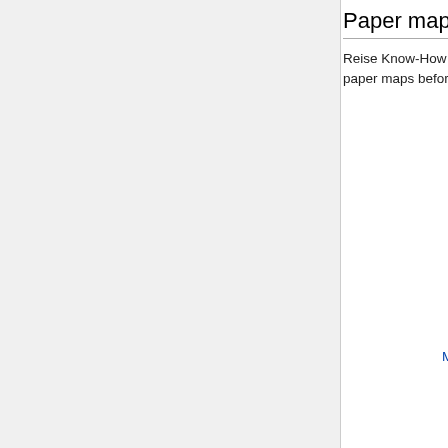Paper maps [edit]
Reise Know-How are amoung the best paper maps. Purchase paper maps before arriving in Comoros
[Figure (photo): Cover of the book 'Madagascar And Comoros 2016 - Rip & Waterproof Map By ...' by Reise Know-How Verlag, showing a blue map cover with baobab trees at the top and the title 'madagaskar' in white text.]
Madagascar And Comoros 2016 - Rip & Waterproof Map By ...
by Reise Know-How Verlag
From $8.99 on Amazon
[Figure (photo): Partial view of a road/terrain map, likely showing Morocco or another region with network of roads and land features.]